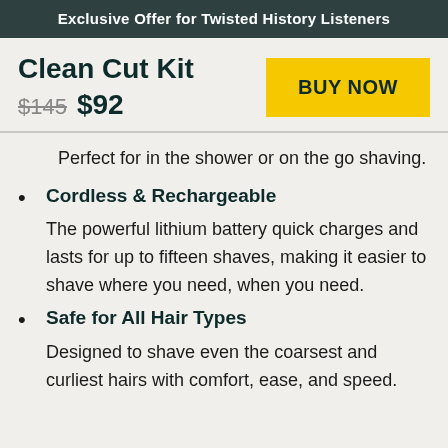Exclusive Offer for Twisted History Listeners
Clean Cut Kit
$145  $92
BUY NOW
Perfect for in the shower or on the go shaving.
Cordless & Rechargeable
The powerful lithium battery quick charges and lasts for up to fifteen shaves, making it easier to shave where you need, when you need.
Safe for All Hair Types
Designed to shave even the coarsest and curliest hairs with comfort, ease, and speed.